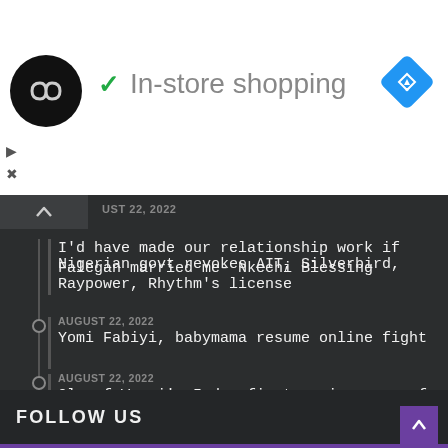[Figure (logo): Ad banner with circular logo, green checkmark, 'In-store shopping' text, and blue diamond navigation icon]
AUGUST 22, 2022 — I'd have made our relationship work if Falegan married me- Nkechi Blessing
AUGUST 22, 2022 — Yomi Fabiyi, babymama resume online fight
AUGUST 22, 2022 — Olu of Warri's 5-day first anniversary of coronation ends
AUGUST 19, 2022 — Nigerian govt revokes AIT, Silverbird, Raypower, Rhythm's license
FOLLOW US